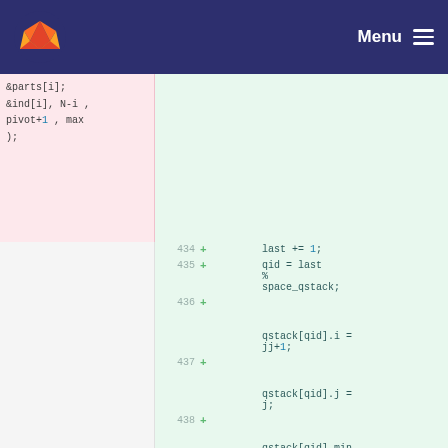GitLab navigation header with logo and Menu
[Figure (screenshot): Code diff view showing deleted lines (pink background) on the left with code: &parts[i]; &ind[i], N-i , pivot+1 , max ); and added lines (green background) on the right with line numbers 434-438 and code: last += 1; qid = last % space_qstack; qstack[qid].i = jj+1; qstack[qid].j = j; qstack[qid].min]